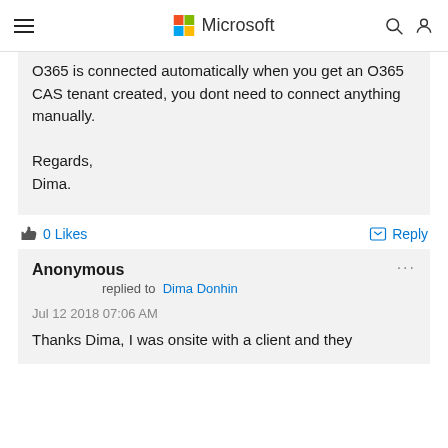Microsoft
O365 is connected automatically when you get an O365 CAS tenant created, you dont need to connect anything manually.

Regards,
Dima.
0 Likes
Reply
Anonymous replied to Dima Donhin
Jul 12 2018 07:06 AM
Thanks Dima, I was onsite with a client and they